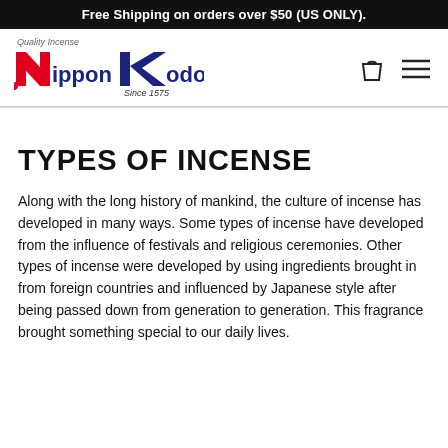Free Shipping on orders over $50 (US ONLY).
[Figure (logo): Nippon Kodo logo with 'Quality Incense' text above and 'Since 1575' below. Red N letter and blue K letter with 'ippon' and 'odo' in dark blue text.]
TYPES OF INCENSE
Along with the long history of mankind, the culture of incense has developed in many ways. Some types of incense have developed from the influence of festivals and religious ceremonies. Other types of incense were developed by using ingredients brought in from foreign countries and influenced by Japanese style after being passed down from generation to generation. This fragrance brought something special to our daily lives.